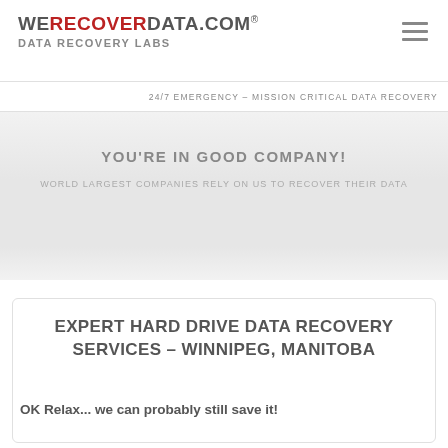WERECOVERDATA.COM® DATA RECOVERY LABS
24/7 EMERGENCY – MISSION CRITICAL DATA RECOVERY
YOU'RE IN GOOD COMPANY!
WORLD LARGEST COMPANIES RELY ON US TO RECOVER THEIR DATA
EXPERT HARD DRIVE DATA RECOVERY SERVICES – WINNIPEG, MANITOBA
OK Relax... we can probably still save it!